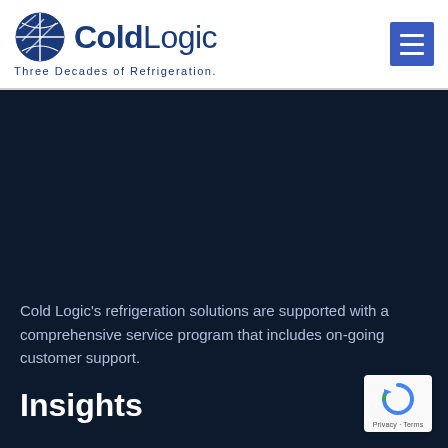[Figure (logo): ColdLogic logo with globe icon and tagline 'Three Decades of Refrigeration.' in blue, plus hamburger menu icon on right]
Cold Logic's refrigeration solutions are supported with a comprehensive service program that includes on-going customer support.
Insights
[Figure (logo): reCAPTCHA badge with circular arrow logo and 'Privacy · Terms' text]